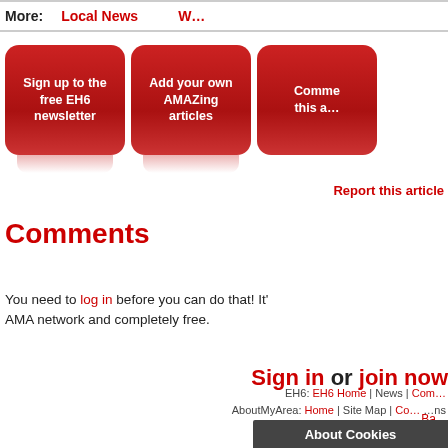More: | Local News | W...
[Figure (infographic): Three red rounded-rectangle buttons: 'Sign up to the free EH6 newsletter', 'Add your own AMAZing articles', 'Comme... this a...' (partially visible third button)]
Report this article
Comments
You need to log in before you can do that! It's part of the AMA network and completely free.
Sign in or join now
Ba...
© Copyright 2...
AboutMyAr...
EH6: EH6 Home | News | Com... AbouMyArea: Home | Site Map | Co... ...ns
About Cookies